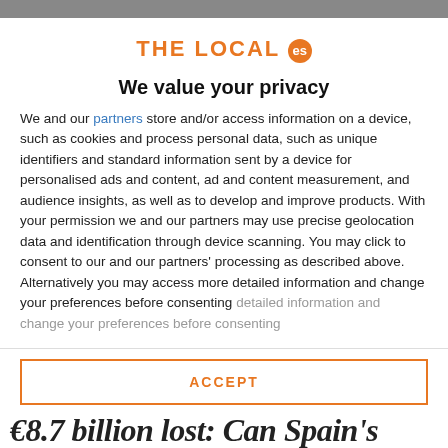THE LOCAL es
We value your privacy
We and our partners store and/or access information on a device, such as cookies and process personal data, such as unique identifiers and standard information sent by a device for personalised ads and content, ad and content measurement, and audience insights, as well as to develop and improve products. With your permission we and our partners may use precise geolocation data and identification through device scanning. You may click to consent to our and our partners' processing as described above. Alternatively you may access more detailed information and change your preferences before consenting
ACCEPT
MORE OPTIONS
€8.7 billion lost: Can Spain's